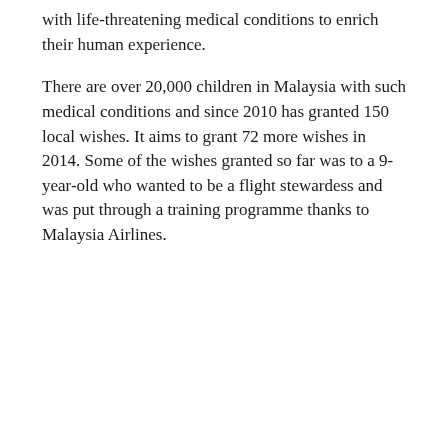with life-threatening medical conditions to enrich their human experience.
There are over 20,000 children in Malaysia with such medical conditions and since 2010 has granted 150 local wishes. It aims to grant 72 more wishes in 2014. Some of the wishes granted so far was to a 9-year-old who wanted to be a flight stewardess and was put through a training programme thanks to Malaysia Airlines.